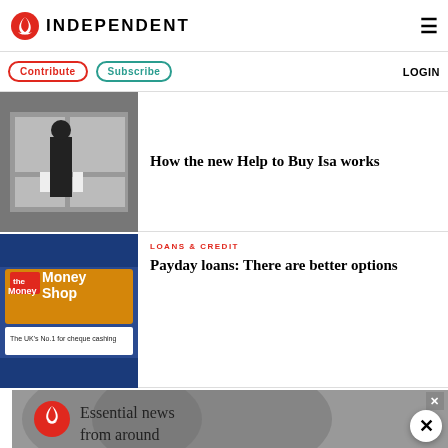INDEPENDENT
Contribute | Subscribe | LOGIN
[Figure (photo): Person standing in front of estate agent window with property listings]
How the new Help to Buy Isa works
LOANS & CREDIT
[Figure (photo): The Money Shop sign - The UK's No.1 for cheque cashing]
Payday loans: There are better options
[Figure (infographic): The Independent advertisement banner - Essential news from around the world]